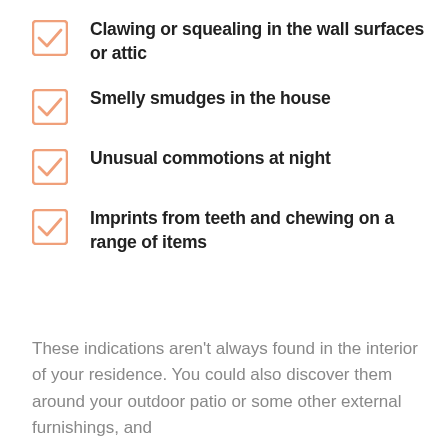Clawing or squealing in the wall surfaces or attic
Smelly smudges in the house
Unusual commotions at night
Imprints from teeth and chewing on a range of items
These indications aren't always found in the interior of your residence. You could also discover them around your outdoor patio or some other external furnishings, and